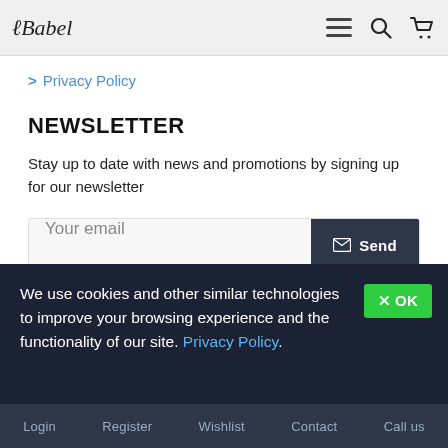Babel [logo] | menu icon | search icon | cart icon
> Privacy Policy
NEWSLETTER
Stay up to date with news and promotions by signing up for our newsletter
Your email [Send button]
I have read and agree to the Privacy Policy
We use cookies and other similar technologies to improve your browsing experience and the functionality of our site. Privacy Policy.
Login | Register | Wishlist | Contact | Call us